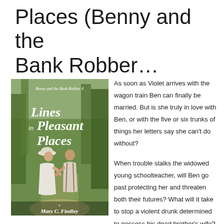Places (Benny and the Bank Robber…
[Figure (illustration): Book cover of 'Lines in Pleasant Places' (Benny and the Bank Robber 4) by Mary C. Findley. Shows a man and woman in period dress facing each other on a forest path. Title in large white serif font, author name at bottom.]
As soon as Violet arrives with the wagon train Ben can finally be married. But is she truly in love with Ben, or with the five or six trunks of things her letters say she can't do without?

When trouble stalks the widowed young schoolteacher, will Ben go past protecting her and threaten both their futures? What will it take to stop a violent drunk determined to possess his dead brother's wife?